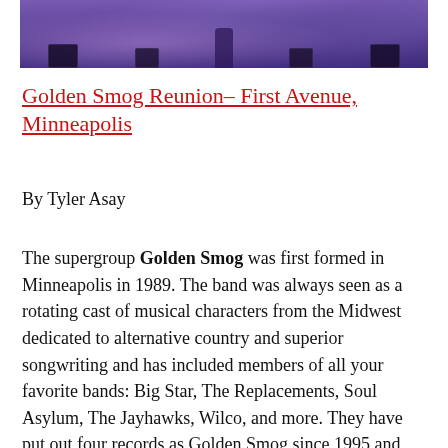[Figure (photo): Concert photo with purple stage lighting showing speakers and performer silhouette on stage at First Avenue, Minneapolis]
Golden Smog Reunion– First Avenue, Minneapolis
By Tyler Asay
The supergroup Golden Smog was first formed in Minneapolis in 1989. The band was always seen as a rotating cast of musical characters from the Midwest dedicated to alternative country and superior songwriting and has included members of all your favorite bands: Big Star, The Replacements, Soul Asylum, The Jayhawks, Wilco, and more. They have put out four records as Golden Smog since 1995 and